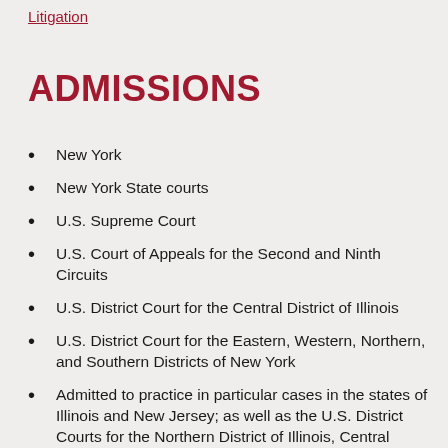Litigation
ADMISSIONS
New York
New York State courts
U.S. Supreme Court
U.S. Court of Appeals for the Second and Ninth Circuits
U.S. District Court for the Central District of Illinois
U.S. District Court for the Eastern, Western, Northern, and Southern Districts of New York
Admitted to practice in particular cases in the states of Illinois and New Jersey; as well as the U.S. District Courts for the Northern District of Illinois, Central District of California, Middle District of Tennessee, Southern District of Florida, the Western and Middle